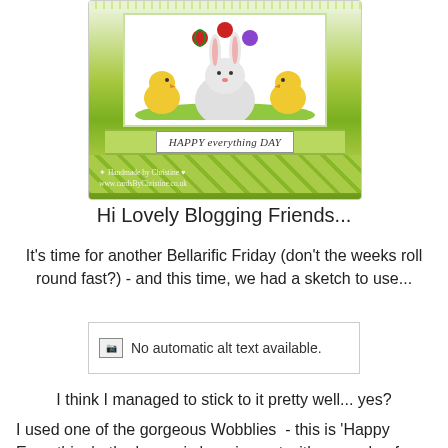[Figure (photo): A handmade greeting card with green background, a white bunny flanked by yellow chicks, flowers, and a tag reading 'HAPPY everything DAY'. Watermark reads 'Handmade by Christine' and website URL.]
Hi Lovely Blogging Friends...
It's time for another Bellarific Friday (don't the weeks roll round fast?) - and this time, we had a sketch to use...
[Figure (other): No automatic alt text available.]
I think I managed to stick to it pretty well... yes?
I used one of the gorgeous Wobblies  - this is 'Happy Everything' - the bunny is hanging out with a couple of chick friends - just chillin' and enjoying themselves..  I stuck close